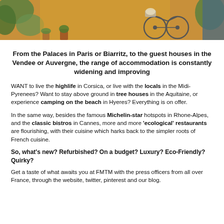[Figure (photo): Photo of a bicycle and potted plants against an orange/yellow wall with a blue door]
From the Palaces in Paris or Biarritz, to the guest houses in the Vendee or Auvergne, the range of accommodation is constantly widening and improving
WANT to live the highlife in Corsica, or live with the locals in the Midi-Pyrenees? Want to stay above ground in tree houses in the Aquitaine, or experience camping on the beach in Hyeres? Everything is on offer.
In the same way, besides the famous Michelin-star hotspots in Rhone-Alpes, and the classic bistros in Cannes, more and more 'ecological' restaurants are flourishing, with their cuisine which harks back to the simpler roots of French cuisine.
So, what's new? Refurbished? On a budget? Luxury? Eco-Friendly? Quirky?
Get a taste of what awaits you at FMTM with the press officers from all over France, through the website, twitter, pinterest and our blog.